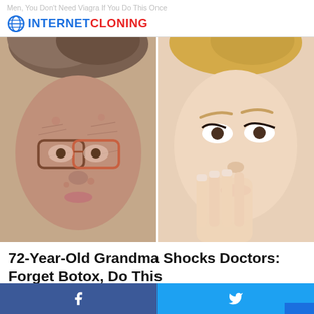Men, You Don't Need Viagra If You Do This Once
[Figure (logo): Internet Cloning logo with globe icon, INTERNET in blue and CLONING in red]
[Figure (photo): Split before-and-after image: left side shows an elderly woman with deeply wrinkled skin and glasses, right side shows a young glamorous woman with smooth skin, long lashes, and hand touching face]
72-Year-Old Grandma Shocks Doctors: Forget Botox, Do This
SKIN
[Figure (photo): Partial bottom preview images of two additional article thumbnails]
Facebook share button | Twitter share button